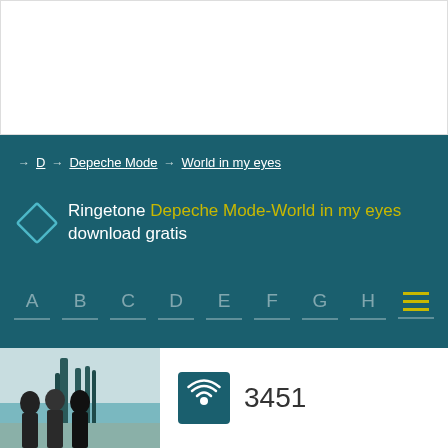[Figure (photo): White rectangle area at top of page, resembling a blank content area or advertisement space]
→ D → Depeche Mode → World in my eyes
Ringetone Depeche Mode-World in my eyes download gratis
A B C D E F G H ≡
[Figure (photo): Photo of Depeche Mode band members standing outside]
3451